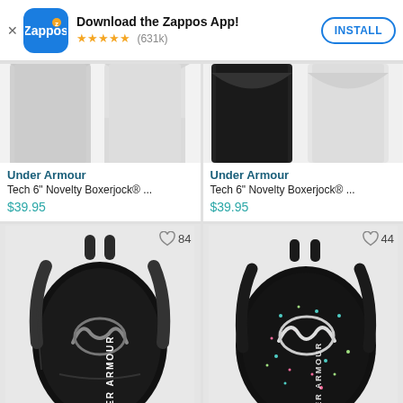[Figure (screenshot): Zappos app install banner with logo, 5 star rating (631k), and INSTALL button]
[Figure (photo): Under Armour Tech 6" Novelty Boxerjock partial product photo - gray/light color]
Under Armour
Tech 6" Novelty Boxerjock® ...
$39.95
[Figure (photo): Under Armour Tech 6" Novelty Boxerjock partial product photo - dark/black color]
Under Armour
Tech 6" Novelty Boxerjock® ...
$39.95
[Figure (photo): Under Armour black backpack with UA logo and UNDER ARMOUR text, wishlist count 84]
[Figure (photo): Under Armour black speckled/confetti print backpack with UA logo, wishlist count 44]